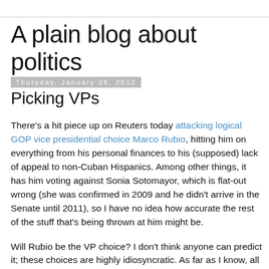A plain blog about politics
Thursday, January 26, 2012
Picking VPs
There's a hit piece up on Reuters today attacking logical GOP vice presidential choice Marco Rubio, hitting him on everything from his personal finances to his (supposed) lack of appeal to non-Cuban Hispanics. Among other things, it has him voting against Sonia Sotomayor, which is flat-out wrong (she was confirmed in 2009 and he didn't arrive in the Senate until 2011), so I have no idea how accurate the rest of the stuff that's being thrown at him might be.
Will Rubio be the VP choice? I don't think anyone can predict it; these choices are highly idiosyncratic. As far as I know, all we can say is that sometimes the nomination runner-up gets the pick (Lyndon Johnson, George H.W. Bush, John Edwards), and sometimes it's someone else. But Rubio